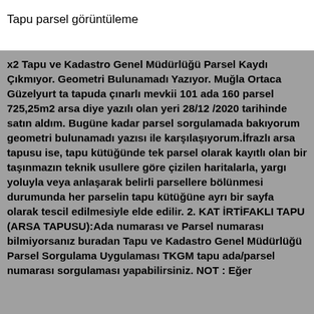Tapu parsel görüntüleme
x2 Tapu ve Kadastro Genel Müdürlüğü Parsel Kaydı Çıkmıyor. Geometri Bulunamadı Yazıyor. Muğla Ortaca Güzelyurt ta tapuda çınarlı mevkii 101 ada 160 parsel 725,25m2 arsa diye yazılı olan yeri 28/12/2020 tarihinde satın aldım. Bugüne kadar parsel sorgulamada bakıyorum geometri bulunamadı yazısı ile karşılaşıyorum.İfrazlı arsa tapusu ise, tapu kütüğünde tek parsel olarak kayıtlı olan bir taşınmazın teknik usullere göre çizilen haritalarla, yargı yoluyla veya anlaşarak belirli parsellere bölünmesi durumunda her parselin tapu kütüğüne ayrı bir sayfa olarak tescil edilmesiyle elde edilir. 2. KAT İRTİFAKLI TAPU (ARSA TAPUSU):Ada numarası ve Parsel numarası bilmiyorsanız buradan Tapu ve Kadastro Genel Müdürlüğü Parsel Sorgulama Uygulaması TKGM tapu ada/parsel numarası sorgulaması yapabilirsiniz. NOT : Eğer